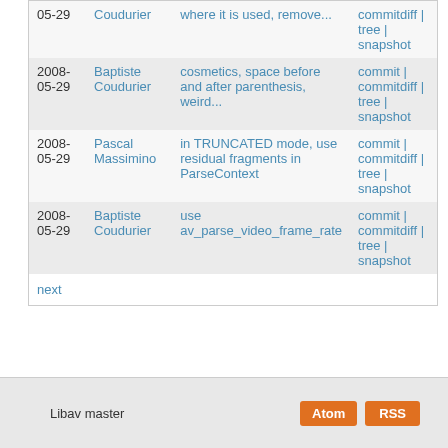| Date | Author | Message | Links |
| --- | --- | --- | --- |
| 05-29 | Coudurier | where it is used, remove... | commitdiff | tree | snapshot |
| 2008-05-29 | Baptiste Coudurier | cosmetics, space before and after parenthesis, weird... | commit | commitdiff | tree | snapshot |
| 2008-05-29 | Pascal Massimino | in TRUNCATED mode, use residual fragments in ParseContext | commit | commitdiff | tree | snapshot |
| 2008-05-29 | Baptiste Coudurier | use av_parse_video_frame_rate | commit | commitdiff | tree | snapshot |
| next |  |  |  |
Libav master
Atom  RSS